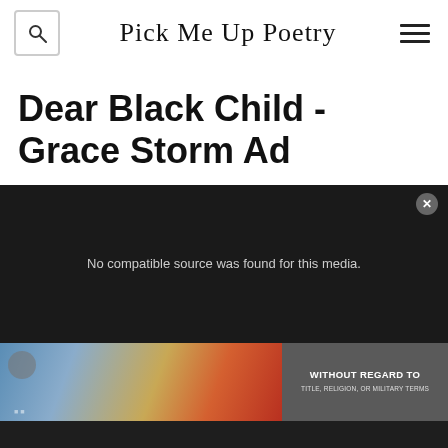Pick Me Up Poetry
Dear Black Child - Grace Storm Ad
[Figure (screenshot): Video player with dark background showing 'No compatible source was found for this media.' error message with a close button (x) in top right]
[Figure (photo): Advertisement banner showing an airplane on a tarmac with colorful livery, alongside a dark panel reading 'WITHOUT REGARD TO TITLE, RELIGION, OR MILITARY TERMS']
[Figure (screenshot): Bottom portion of dark video player area with faint ghost text visible]